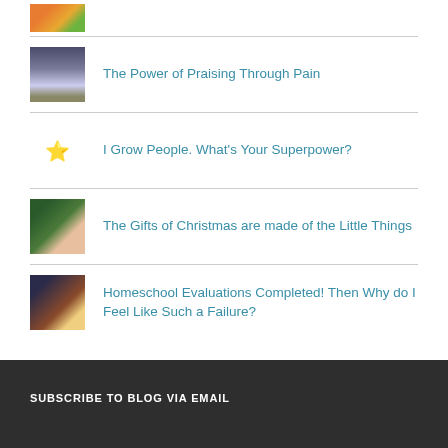[Figure (photo): Thumbnail of orange flowers (partially visible at top)]
The Power of Praising Through Pain
I Grow People. What's Your Superpower?
The Gifts of Christmas are made of the Little Things
Homeschool Evaluations Completed! Then Why do I Feel Like Such a Failure?
SUBSCRIBE TO BLOG VIA EMAIL